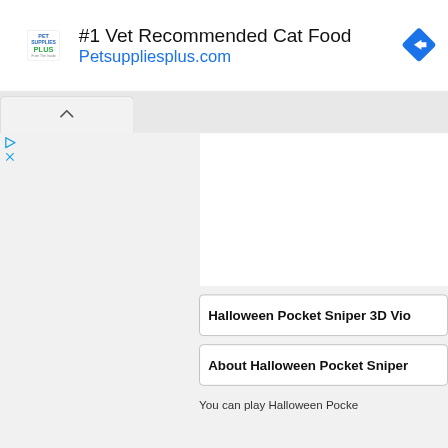[Figure (screenshot): Pet Supplies Plus advertisement banner with logo, headline '#1 Vet Recommended Cat Food', URL 'Petsuppliesplus.com', and a blue diamond navigation icon]
#1 Vet Recommended Cat Food
Petsuppliesplus.com
Halloween Pocket Sniper 3D Vio
About Halloween Pocket Sniper
You can play Halloween Pocke